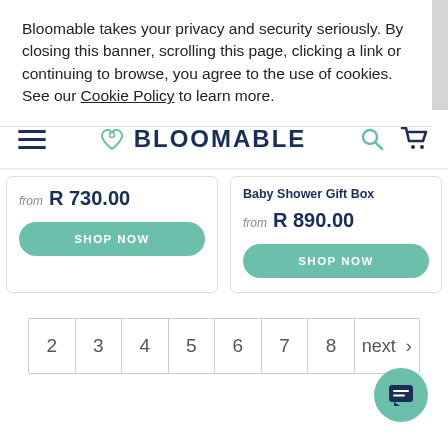Bloomable takes your privacy and security seriously. By closing this banner, scrolling this page, clicking a link or continuing to browse, you agree to the use of cookies. See our Cookie Policy to learn more.
BLOOMABLE
Baby Shower Gift Box
from R 730.00  SHOP NOW
from R 890.00  SHOP NOW
2  3  4  5  6  7  8  next >